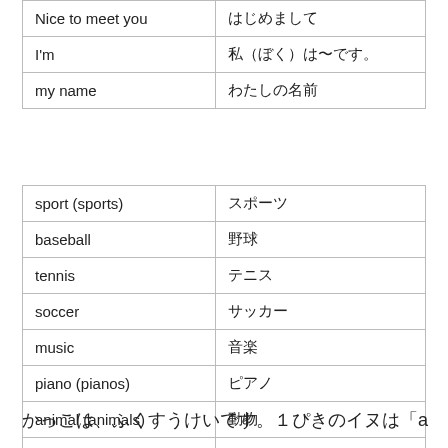| Nice to meet you | はじめまして |
| I'm | 私（ぼく）は〜です。 |
| my name | わたしの名前 |
| sport (sports) | スポーツ |
| baseball | 野球 |
| tennis | テニス |
| soccer | サッカー |
| music | 音楽 |
| piano (pianos) | ピアノ |
| animal  (animals) | 動物 |
| dog  (dogs) | イヌ |
| cat  (cats) | ネコ |
かっこは、ふくすうけいです。１ぴきのイヌは「a